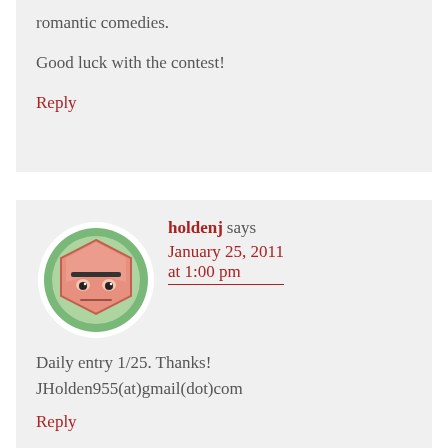romantic comedies.
Good luck with the contest!
Reply
holdenj says January 25, 2011 at 1:00 pm
[Figure (illustration): Avatar icon of a cartoon character resembling a sleepy hexagonal face with glasses, on a green circular background]
Daily entry 1/25. Thanks! JHolden955(at)gmail(dot)com
Reply